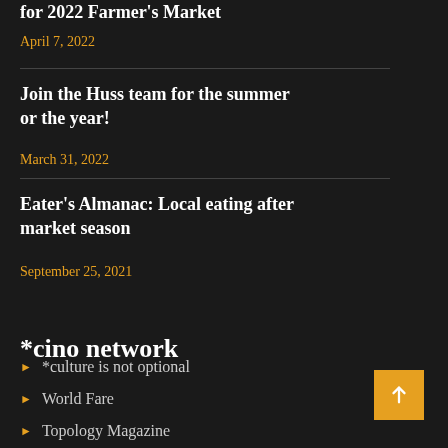for 2022 Farmer's Market
April 7, 2022
Join the Huss team for the summer or the year!
March 31, 2022
Eater's Almanac: Local eating after market season
September 25, 2021
*cino network
*culture is not optional
World Fare
Topology Magazine